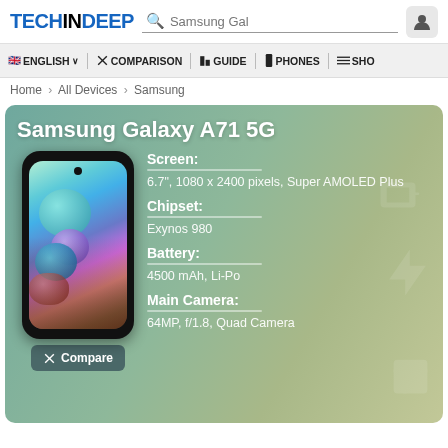TECHINDEEP  🔍 Samsung Gal  👤
🇬🇧 ENGLISH ∨  ✗ COMPARISON  📋 GUIDE  📱 PHONES  ≡ SHO
Home › All Devices › Samsung
Samsung Galaxy A71 5G
Screen:
6.7", 1080 x 2400 pixels, Super AMOLED Plus
Chipset:
Exynos 980
Battery:
4500 mAh, Li-Po
Main Camera:
64MP, f/1.8, Quad Camera
Compare